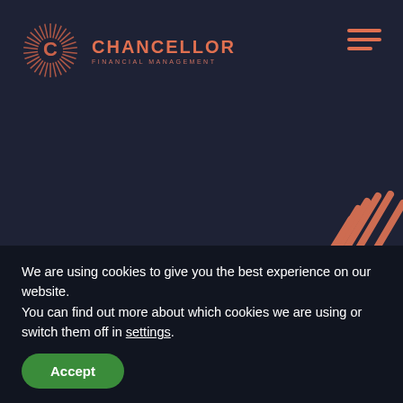[Figure (logo): Chancellor Financial Management logo — circular sunburst C emblem with company name in salmon/orange]
Privacy Policy
We are using cookies to give you the best experience on our website.
You can find out more about which cookies we are using or switch them off in settings.
Accept